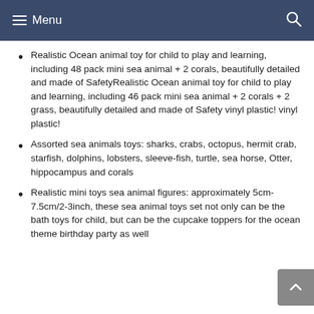Menu
Realistic Ocean animal toy for child to play and learning, including 48 pack mini sea animal + 2 corals, beautifully detailed and made of SafetyRealistic Ocean animal toy for child to play and learning, including 46 pack mini sea animal + 2 corals + 2 grass, beautifully detailed and made of Safety vinyl plastic! vinyl plastic!
Assorted sea animals toys: sharks, crabs, octopus, hermit crab, starfish, dolphins, lobsters, sleeve-fish, turtle, sea horse, Otter, hippocampus and corals
Realistic mini toys sea animal figures: approximately 5cm-7.5cm/2-3inch, these sea animal toys set not only can be the bath toys for child, but can be the cupcake toppers for the ocean theme birthday party as well